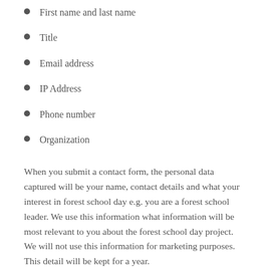First name and last name
Title
Email address
IP Address
Phone number
Organization
When you submit a contact form, the personal data captured will be your name, contact details and what your interest in forest school day e.g. you are a forest school leader. We use this information what information will be most relevant to you about the forest school day project. We will not use this information for marketing purposes.  This detail will be kept for a year.